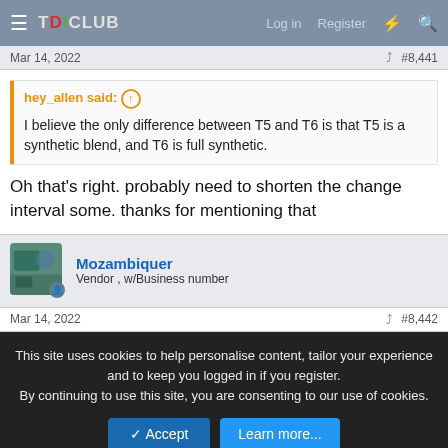TDICLUB — Log in  Register
Mar 14, 2022  #8,441
hey_allen said: ↑
I believe the only difference between T5 and T6 is that T5 is a synthetic blend, and T6 is full synthetic.
Oh that's right. probably need to shorten the change interval some. thanks for mentioning that
Mozambiquer
Vendor , w/Business number
Mar 14, 2022  #8,442
This site uses cookies to help personalise content, tailor your experience and to keep you logged in if you register.
By continuing to use this site, you are consenting to our use of cookies.
Accept  Learn more...